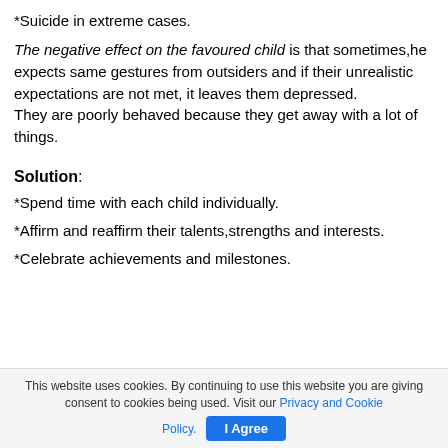*Suicide in extreme cases.
The negative effect on the favoured child is that sometimes,he expects same gestures from outsiders and if their unrealistic expectations are not met, it leaves them depressed. They are poorly behaved because they get away with a lot of things.
Solution:
*Spend time with each child individually.
*Affirm and reaffirm their talents,strengths and interests.
*Celebrate achievements and milestones.
This website uses cookies. By continuing to use this website you are giving consent to cookies being used. Visit our Privacy and Cookie Policy. I Agree